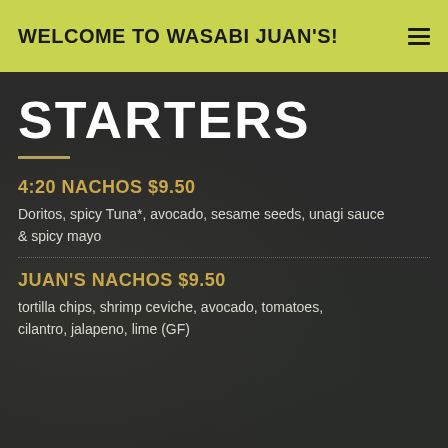WELCOME TO WASABI JUAN'S!
STARTERS
4:20 NACHOS $9.50
Doritos, spicy Tuna*, avocado, sesame seeds, unagi sauce & spicy mayo
JUAN'S NACHOS $9.50
tortilla chips, shrimp ceviche, avocado, tomatoes, cilantro, jalapeno, lime (GF)